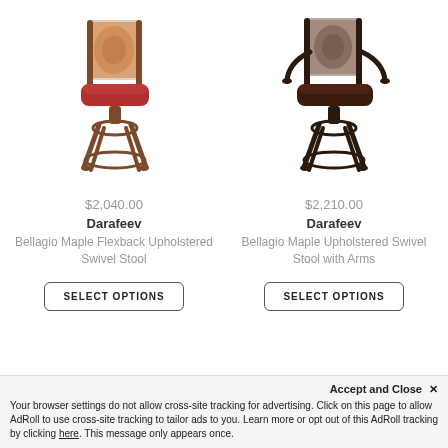[Figure (photo): Darafeev Bellagio Maple Flexback Upholstered Swivel Stool - bar stool with red seat and decorative patterned back, wooden frame]
$2,040.00
Darafeev
Bellagio Maple Flexback Upholstered Swivel Stool
[Figure (photo): Darafeev Bellagio Maple Upholstered Swivel Stool with Arms - bar stool with dark brown seat and decorative patterned back, dark wooden frame with arms]
$2,210.00
Darafeev
Bellagio Maple Upholstered Swivel Stool with Arms
SELECT OPTIONS
SELECT OPTIONS
Accept and Close ✕
Your browser settings do not allow cross-site tracking for advertising. Click on this page to allow AdRoll to use cross-site tracking to tailor ads to you. Learn more or opt out of this AdRoll tracking by clicking here. This message only appears once.